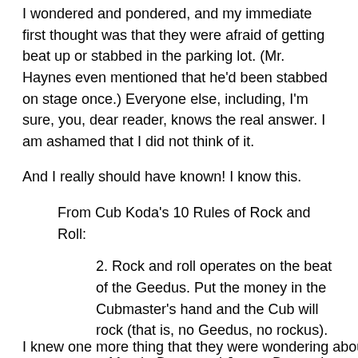I wondered and pondered, and my immediate first thought was that they were afraid of getting beat up or stabbed in the parking lot. (Mr. Haynes even mentioned that he'd been stabbed on stage once.) Everyone else, including, I'm sure, you, dear reader, knows the real answer. I am ashamed that I did not think of it.
And I really should have known! I know this.
From Cub Koda's 10 Rules of Rock and Roll:
2. Rock and roll operates on the beat of the Geedus. Put the money in the Cubmaster's hand and the Cub will rock (that is, no Geedus, no rockus).
source: Marsh, Dave, and James Bernard. The New Book of Rock Lists. New York: Simon & Schuster, 1994. p 3.
I knew one more thing that they were wondering about and